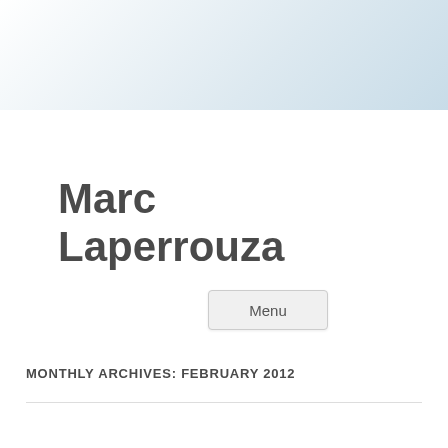Marc Laperrouza
Menu
MONTHLY ARCHIVES: FEBRUARY 2012